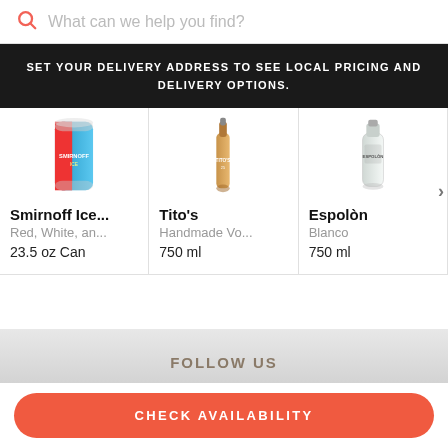What can we help you find?
SET YOUR DELIVERY ADDRESS TO SEE LOCAL PRICING AND DELIVERY OPTIONS.
[Figure (photo): Smirnoff Ice can product image - red, white and blue can]
Smirnoff Ice...
Red, White, an...
23.5 oz Can
[Figure (photo): Tito's Handmade Vodka bottle product image - amber/tan bottle]
Tito's
Handmade Vo...
750 ml
[Figure (photo): Espolon Blanco tequila bottle product image - clear bottle]
Espolòn
Blanco
750 ml
FOLLOW US
CHECK AVAILABILITY